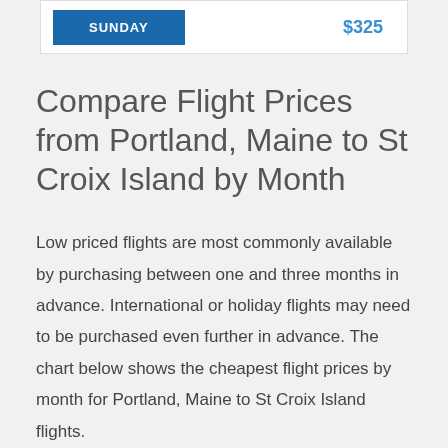| SUNDAY | $325 |
| --- | --- |
Compare Flight Prices from Portland, Maine to St Croix Island by Month
Low priced flights are most commonly available by purchasing between one and three months in advance. International or holiday flights may need to be purchased even further in advance. The chart below shows the cheapest flight prices by month for Portland, Maine to St Croix Island flights.